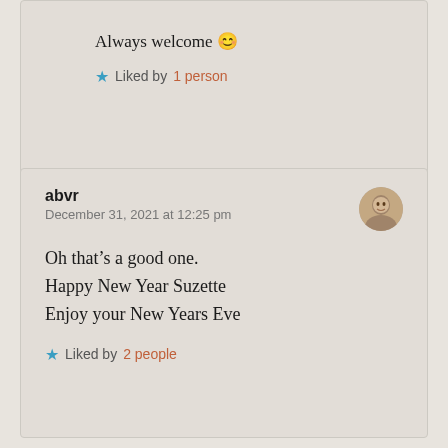Always welcome 😊
★ Liked by 1 person
abvr
December 31, 2021 at 12:25 pm
Oh that's a good one.
Happy New Year Suzette
Enjoy your New Years Eve
★ Liked by 2 people